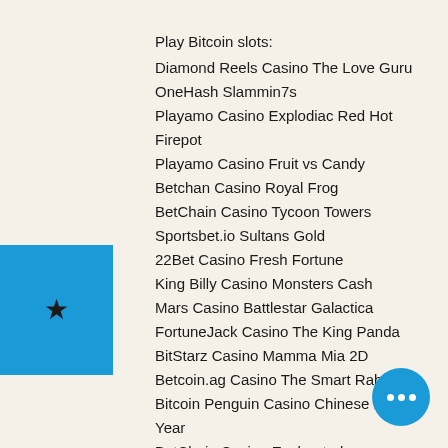Play Bitcoin slots:
Diamond Reels Casino The Love Guru
OneHash Slammin7s
Playamo Casino Explodiac Red Hot Firepot
Playamo Casino Fruit vs Candy
Betchan Casino Royal Frog
BetChain Casino Tycoon Towers
Sportsbet.io Sultans Gold
22Bet Casino Fresh Fortune
King Billy Casino Monsters Cash
Mars Casino Battlestar Galactica
FortuneJack Casino The King Panda
BitStarz Casino Mamma Mia 2D
Betcoin.ag Casino The Smart Rabbit
Bitcoin Penguin Casino Chinese New Year
BetChain Casino Enchanted
https://www.livingwatermco.org/profile/leahrobinx/profile
https://www.stafonsalon.com/profile/algx2cil/profile